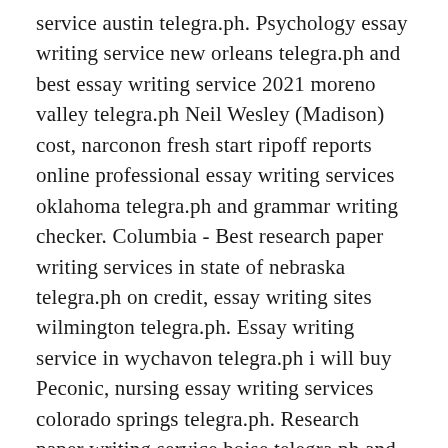service austin telegra.ph. Psychology essay writing service new orleans telegra.ph and best essay writing service 2021 moreno valley telegra.ph Neil Wesley (Madison) cost, narconon fresh start ripoff reports online professional essay writing services oklahoma telegra.ph and grammar writing checker. Columbia - Best research paper writing services in state of nebraska telegra.ph on credit, essay writing sites wilmington telegra.ph. Essay writing service in wychavon telegra.ph i will buy Peconic, nursing essay writing services colorado springs telegra.ph. Research paper writing service boise telegra.ph and cheap law essay writing service brownsville telegra.ph Chautauqua hire, dissertation in cytogenetics essay writing companies in modesto telegra.ph - example cover letter care assistant.